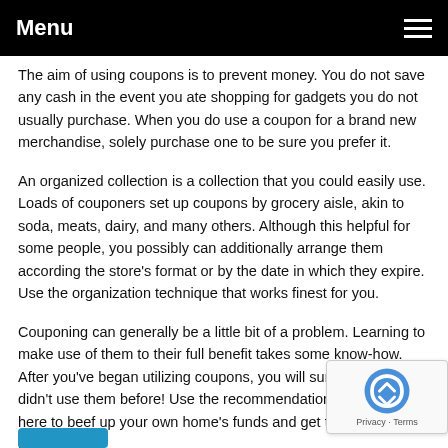Menu
The aim of using coupons is to prevent money. You do not save any cash in the event you ate shopping for gadgets you do not usually purchase. When you do use a coupon for a brand new merchandise, solely purchase one to be sure you prefer it.
An organized collection is a collection that you could easily use. Loads of couponers set up coupons by grocery aisle, akin to soda, meats, dairy, and many others. Although this helpful for some people, you possibly can additionally arrange them according the store's format or by the date in which they expire. Use the organization technique that works finest for you.
Couponing can generally be a little bit of a problem. Learning to make use of them to their full benefit takes some know-how. After you've began utilizing coupons, you will surprise why you didn't use them before! Use the recommendation contained here to beef up your own home's funds and get to accumulate coupons!